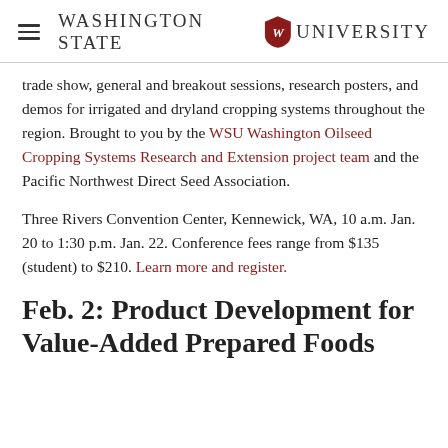Washington State University
trade show, general and breakout sessions, research posters, and demos for irrigated and dryland cropping systems throughout the region. Brought to you by the WSU Washington Oilseed Cropping Systems Research and Extension project team and the Pacific Northwest Direct Seed Association.
Three Rivers Convention Center, Kennewick, WA, 10 a.m. Jan. 20 to 1:30 p.m. Jan. 22. Conference fees range from $135 (student) to $210. Learn more and register.
Feb. 2: Product Development for Value-Added Prepared Foods